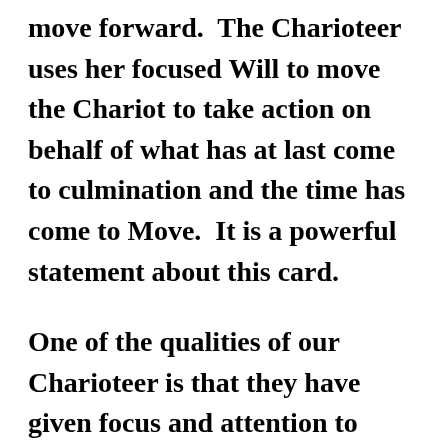move forward. The Charioteer uses her focused Will to move the Chariot to take action on behalf of what has at last come to culmination and the time has come to Move. It is a powerful statement about this card.
One of the qualities of our Charioteer is that they have given focus and attention to something that has moved them